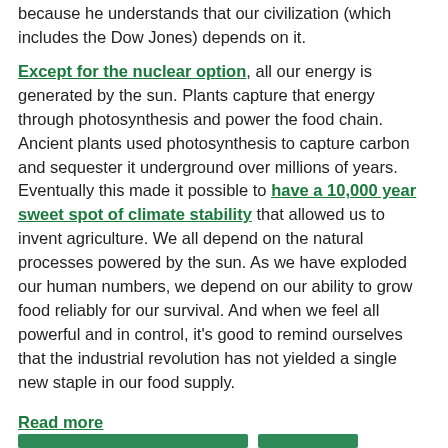because he understands that our civilization (which includes the Dow Jones) depends on it.
Except for the nuclear option, all our energy is generated by the sun. Plants capture that energy through photosynthesis and power the food chain. Ancient plants used photosynthesis to capture carbon and sequester it underground over millions of years. Eventually this made it possible to have a 10,000 year sweet spot of climate stability that allowed us to invent agriculture. We all depend on the natural processes powered by the sun. As we have exploded our human numbers, we depend on our ability to grow food reliably for our survival. And when we feel all powerful and in control, it's good to remind ourselves that the industrial revolution has not yielded a single new staple in our food supply.
Read more